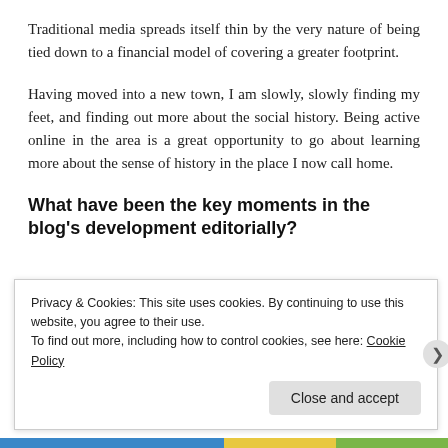Traditional media spreads itself thin by the very nature of being tied down to a financial model of covering a greater footprint.
Having moved into a new town, I am slowly, slowly finding my feet, and finding out more about the social history. Being active online in the area is a great opportunity to go about learning more about the sense of history in the place I now call home.
What have been the key moments in the blog's development editorially?
Privacy & Cookies: This site uses cookies. By continuing to use this website, you agree to their use.
To find out more, including how to control cookies, see here: Cookie Policy